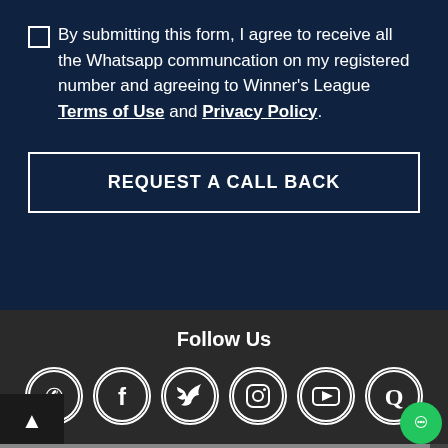☐ By submitting this form, I agree to receive all the Whatsapp communcation on my registered number and agreeing to Winner's League Terms of Use and Privacy Policy.
REQUEST A CALL BACK
Follow Us
[Figure (other): Social media icons: WhatsApp, Facebook, Twitter, Instagram, YouTube, Quora in white circle outlines on dark background]
Back to top arrow and chat bubble icon